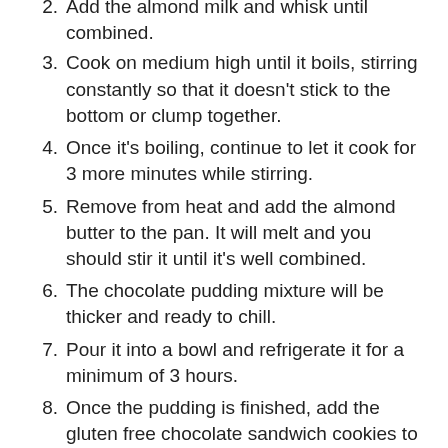2. Add the almond milk and whisk until combined.
3. Cook on medium high until it boils, stirring constantly so that it doesn't stick to the bottom or clump together.
4. Once it's boiling, continue to let it cook for 3 more minutes while stirring.
5. Remove from heat and add the almond butter to the pan. It will melt and you should stir it until it's well combined.
6. The chocolate pudding mixture will be thicker and ready to chill.
7. Pour it into a bowl and refrigerate it for a minimum of 3 hours.
8. Once the pudding is finished, add the gluten free chocolate sandwich cookies to a food processor or blender. We used our Beaba Babycook because it's perfect for small things like this.